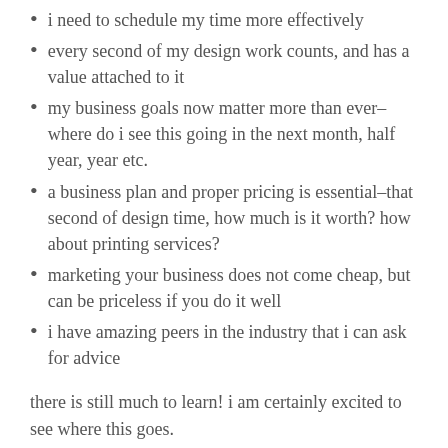i need to schedule my time more effectively
every second of my design work counts, and has a value attached to it
my business goals now matter more than ever–where do i see this going in the next month, half year, year etc.
a business plan and proper pricing is essential–that second of design time, how much is it worth? how about printing services?
marketing your business does not come cheap, but can be priceless if you do it well
i have amazing peers in the industry that i can ask for advice
there is still much to learn! i am certainly excited to see where this goes.
that being said, if there are any questions that you have